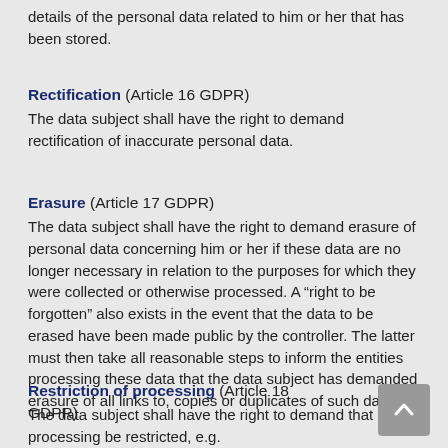details of the personal data related to him or her that has been stored.
Rectification (Article 16 GDPR)
The data subject shall have the right to demand rectification of inaccurate personal data.
Erasure (Article 17 GDPR)
The data subject shall have the right to demand erasure of personal data concerning him or her if these data are no longer necessary in relation to the purposes for which they were collected or otherwise processed. A “right to be forgotten” also exists in the event that the data to be erased have been made public by the controller. The latter must then take all reasonable steps to inform the entities processing these data that the data subject has demanded erasure of all links to, copies or duplicates of such data.
Restriction of processing (Article 18 GDPR)
The data subject shall have the right to demand that processing be restricted, e.g.